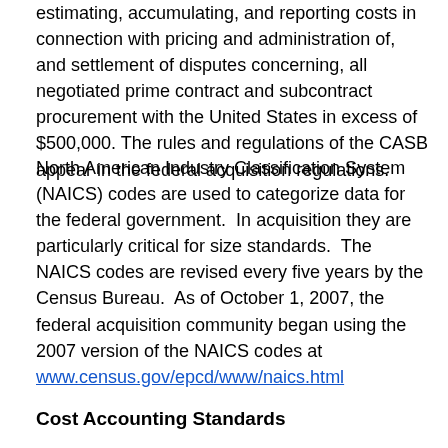estimating, accumulating, and reporting costs in connection with pricing and administration of, and settlement of disputes concerning, all negotiated prime contract and subcontract procurement with the United States in excess of $500,000. The rules and regulations of the CASB appear in the federal acquisition regulations.
North American Industry Classification System (NAICS) codes are used to categorize data for the federal government.  In acquisition they are particularly critical for size standards.  The NAICS codes are revised every five years by the Census Bureau.  As of October 1, 2007, the federal acquisition community began using the 2007 version of the NAICS codes at www.census.gov/epcd/www/naics.html
Cost Accounting Standards